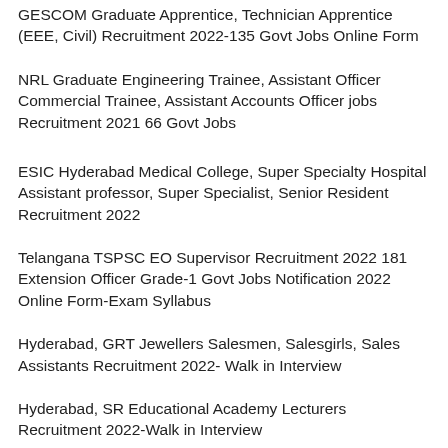GESCOM Graduate Apprentice, Technician Apprentice (EEE, Civil) Recruitment 2022-135 Govt Jobs Online Form
NRL Graduate Engineering Trainee, Assistant Officer Commercial Trainee, Assistant Accounts Officer jobs Recruitment 2021 66 Govt Jobs
ESIC Hyderabad Medical College, Super Specialty Hospital Assistant professor, Super Specialist, Senior Resident Recruitment 2022
Telangana TSPSC EO Supervisor Recruitment 2022 181 Extension Officer Grade-1 Govt Jobs Notification 2022 Online Form-Exam Syllabus
Hyderabad, GRT Jewellers Salesmen, Salesgirls, Sales Assistants Recruitment 2022- Walk in Interview
Hyderabad, SR Educational Academy Lecturers Recruitment 2022-Walk in Interview